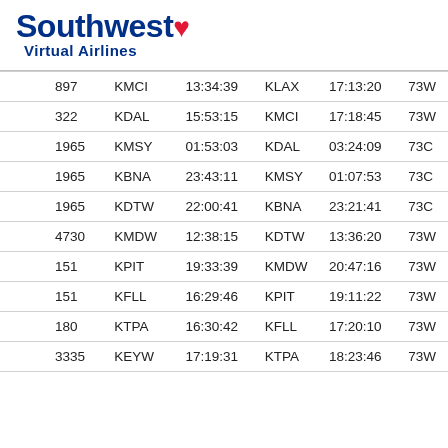[Figure (logo): Southwest Virtual Airlines logo with blue text 'Southwest' and red heart symbol, subtitle 'Virtual Airlines']
| 897 | KMCI | 13:34:39 | KLAX | 17:13:20 | 73W |
| 322 | KDAL | 15:53:15 | KMCI | 17:18:45 | 73W |
| 1965 | KMSY | 01:53:03 | KDAL | 03:24:09 | 73C |
| 1965 | KBNA | 23:43:11 | KMSY | 01:07:53 | 73C |
| 1965 | KDTW | 22:00:41 | KBNA | 23:21:41 | 73C |
| 4730 | KMDW | 12:38:15 | KDTW | 13:36:20 | 73W |
| 151 | KPIT | 19:33:39 | KMDW | 20:47:16 | 73W |
| 151 | KFLL | 16:29:46 | KPIT | 19:11:22 | 73W |
| 180 | KTPA | 16:30:42 | KFLL | 17:20:10 | 73W |
| 3335 | KEYW | 17:19:31 | KTPA | 18:23:46 | 73W |